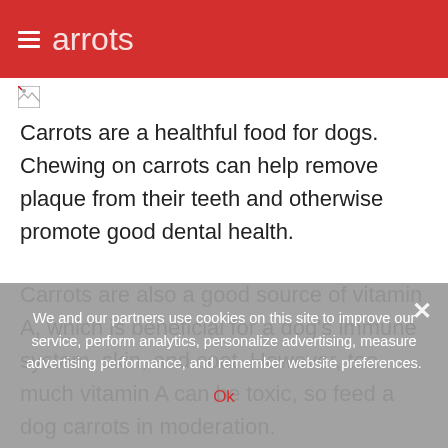Carrots
[Figure (photo): Small broken image icon placeholder]
Carrots are a healthful food for dogs. Chewing on carrots can help remove plaque from their teeth and otherwise promote good dental health.
Carrots are also a good source of vitamin A, which is beneficial for a dog's immune system, skin, and coat. However, too much vitamin A can be toxic, so feed a dog carrots in moderation.
Apples
Apples provide many important vitamins for dogs,
We and our partners use cookies on this site to improve our service, perform analytics, personalize advertising, measure advertising performance, and remember website preferences.
Ok